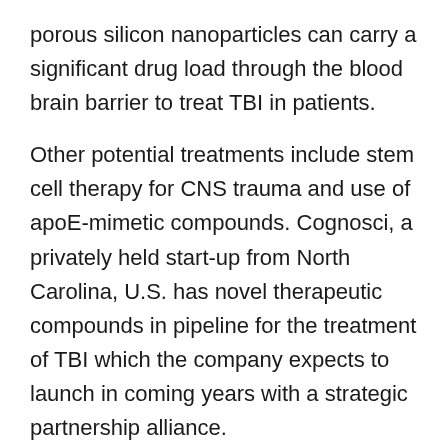porous silicon nanoparticles can carry a significant drug load through the blood brain barrier to treat TBI in patients.
Other potential treatments include stem cell therapy for CNS trauma and use of apoE-mimetic compounds. Cognosci, a privately held start-up from North Carolina, U.S. has novel therapeutic compounds in pipeline for the treatment of TBI which the company expects to launch in coming years with a strategic partnership alliance.
Get A Customized Scope To Match Your Need Ask An Expert –
sales@persistencemarketresearch.com